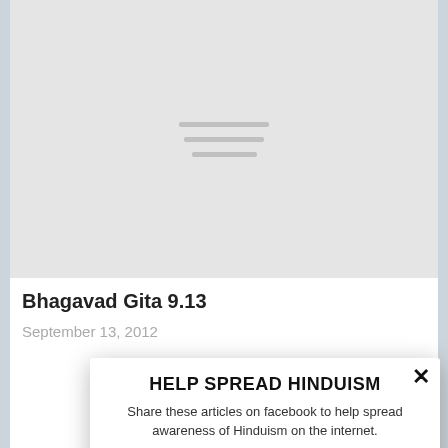[Figure (screenshot): Gray placeholder image with hamburger menu lines icon centered]
Bhagavad Gita 9.13
September 13, 2012
HELP SPREAD HINDUISM
Share these articles on facebook to help spread awareness of Hinduism on the internet.
0
SHARE
Facebook 0
Twitter 0
Subscribe